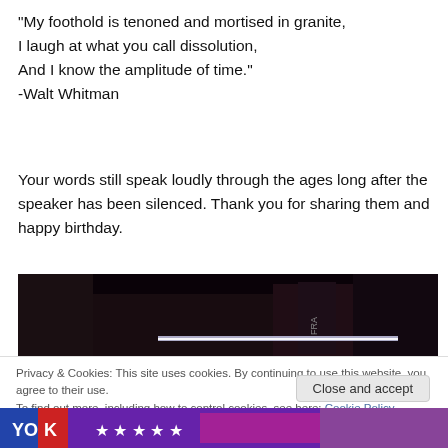“My foothold is tenoned and mortised in granite,
I laugh at what you call dissolution,
And I know the amplitude of time.”
-Walt Whitman
Your words still speak loudly through the ages long after the speaker has been silenced. Thank you for sharing them and happy birthday.
[Figure (photo): Dark photograph showing books on a shelf, one visible book spine reads 'FRA' against a black background with a glowing white light]
Privacy & Cookies: This site uses cookies. By continuing to use this website, you agree to their use.
To find out more, including how to control cookies, see here: Cookie Policy
Close and accept
[Figure (photo): Partial colorful image strip at the bottom showing letters and stars on a colorful background]